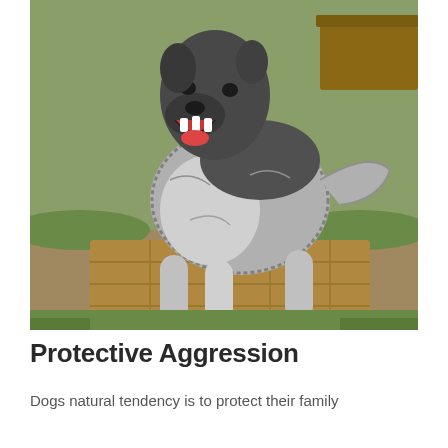[Figure (photo): A large fluffy grey and black dog, resembling a Caucasian Shepherd or similar breed, standing on a wooden pallet/deck with its head raised and mouth open as if howling or barking aggressively. Green grass and a wooden structure are visible in the background. The dog has thick grey and white fur.]
Protective Aggression
Dogs natural tendency is to protect their family